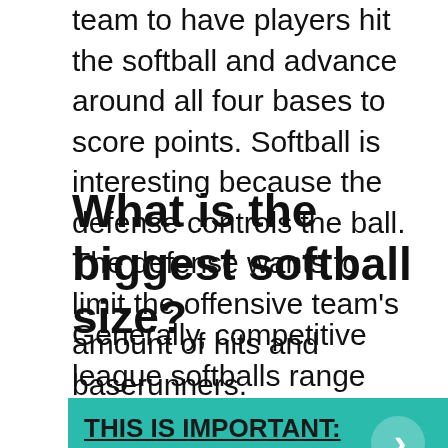team to have players hit the softball and advance around all four bases to score points. Softball is interesting because the defense controls the ball. The defense wants to limit the offensive team's amount of hits and baserunners.
What is the biggest softball size?
Generally, competitive league softballs range from 10″-12″, while some slow pitch city leagues can use softballs as large as 16″. For youngsters, softballs are usually 11″ or 12″.
THIS IS IMPORTANT: Can you use a composite bat with a pitching machine?